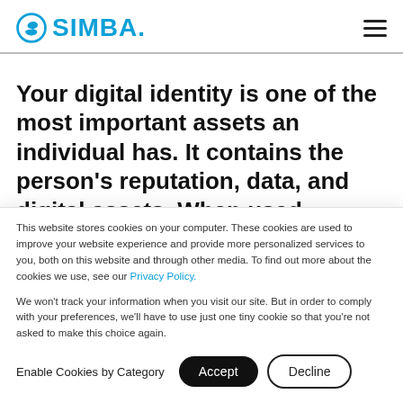[Figure (logo): SIMBA logo with circular S icon in blue and bold SIMBA. text]
Your digital identity is one of the most important assets an individual has. It contains the person's reputation, data, and digital assets. When used correctly, digital identities
This website stores cookies on your computer. These cookies are used to improve your website experience and provide more personalized services to you, both on this website and through other media. To find out more about the cookies we use, see our Privacy Policy.
We won't track your information when you visit our site. But in order to comply with your preferences, we'll have to use just one tiny cookie so that you're not asked to make this choice again.
Enable Cookies by Category
Accept
Decline